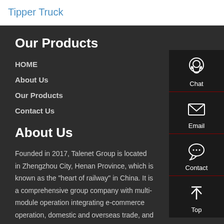Tipper Truck
Our Products
HOME
About Us
Our Products
Contact Us
About Us
Founded in 2017, Talenet Group is located in Zhengzhou City, Henan Province, which is known as the "heart of railway" in China. It is a comprehensive group company with multi-module operation integrating e-commerce operation, domestic and overseas trade, and the upstream and
[Figure (infographic): Right sidebar with contact options: Chat (headset icon), Email (envelope icon), Contact (speech bubble icon), Top (up arrow icon)]